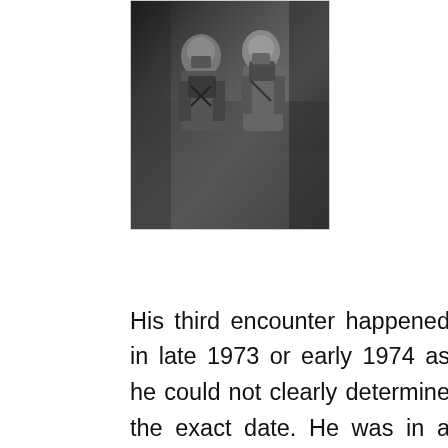[Figure (photo): Black and white photograph of two pilots or aircrew in flight suits and oxygen masks/gear, standing in front of what appears to be an aircraft fuselage.]
His third encounter happened in late 1973 or early 1974 as he could not clearly determine the exact date. He was in a night training flight when he saw a glowing light. He first thought that it was a